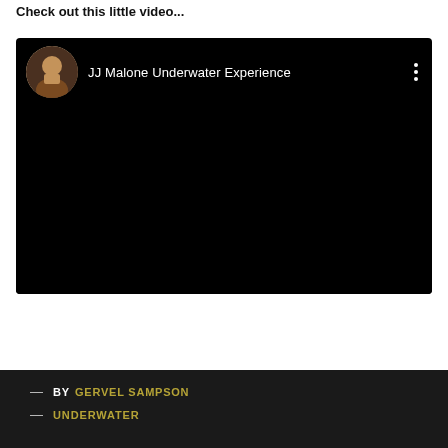Check out this little video...
[Figure (screenshot): Embedded video player with black background, circular avatar thumbnail, title 'JJ Malone Underwater Experience', and three-dot menu icon]
— BY GERVEL SAMPSON
— UNDERWATER